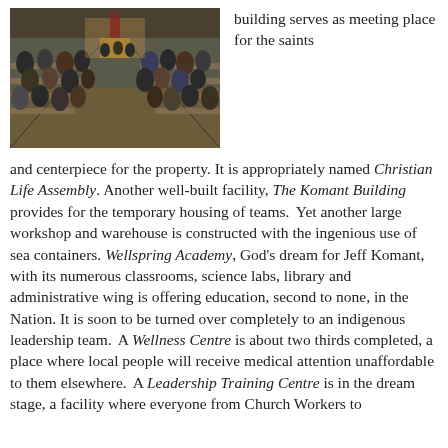[Figure (photo): Interior of a church building filled with people standing in pews facing the altar area, viewed from the back of the congregation.]
building serves as meeting place for the saints and centerpiece for the property. It is appropriately named Christian Life Assembly. Another well-built facility, The Komant Building provides for the temporary housing of teams. Yet another large workshop and warehouse is constructed with the ingenious use of sea containers. Wellspring Academy, God's dream for Jeff Komant, with its numerous classrooms, science labs, library and administrative wing is offering education, second to none, in the Nation. It is soon to be turned over completely to an indigenous leadership team. A Wellness Centre is about two thirds completed, a place where local people will receive medical attention unaffordable to them elsewhere. A Leadership Training Centre is in the dream stage, a facility where everyone from Church Workers to